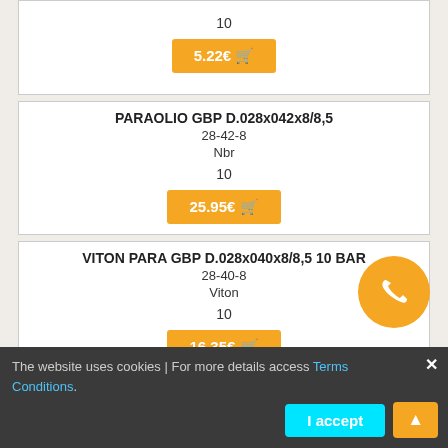| 10 | 5.22€ |
| PARAOLIO GBP D.028x042x8/8,5 | 28-42-8 | Nbr | 10 | 25.95€ |
| VITON PARA GBP D.028x040x8/8,5 10 BAR | 28-40-8 | Viton | 10 | 16.35€ |
| PARAOLIO GBP D.028,50x042x4,5 10BAR | 28,5-42-4,5 | Nbr |
The website uses cookies | For more details access Terms Conditions.